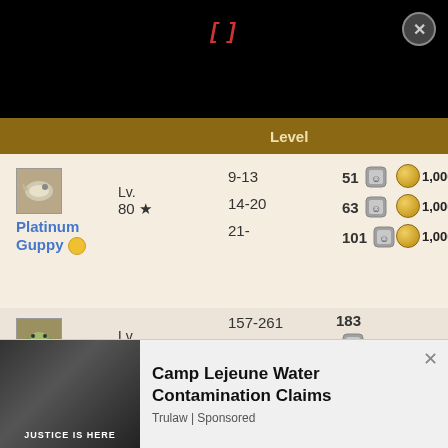[Figure (screenshot): Black header bar with red italic bracket text '[]' and close button]
|  |  | Level |  |  |
| --- | --- | --- | --- | --- |
| Platinum Guppy | Lv. 80 ★ | 9-13 / 14-20 / 21- | 51 / 63 / 101 | 1,000 / 1,000 / 1,000 |
| Henodus | Lv. 80 ★ | 157-261 / 262-368 / 369- | 183 / 229 / ? | 1,000 / 1,000 / 1,000 |
[Figure (screenshot): Advertisement bar: Camp Lejeune Water Contamination Claims - Trulaw Sponsored]